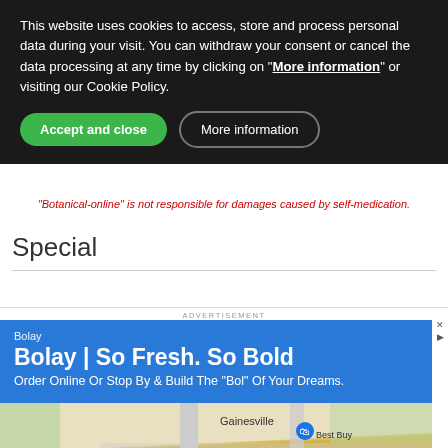This website uses cookies to access, store and process personal data during your visit. You can withdraw your consent or cancel the data processing at any time by clicking on "More information" or visiting our Cookie Policy.
Accept and close | More information (buttons)
"Botanical-online" is not responsible for damages caused by self-medication.
Special
ADVERTISEMENT
[Figure (screenshot): Advertisement for Bolay restaurant. Blue banner with text 'Bolay | So Fresh. So Bold' and 'Order Online Or Stop By & Build The "Bol" Of Your Dreams.' Below is a Google Maps screenshot showing Gainesville area with markers for Best Buy, Wawa, Chick-fil-A, and a location pin.]